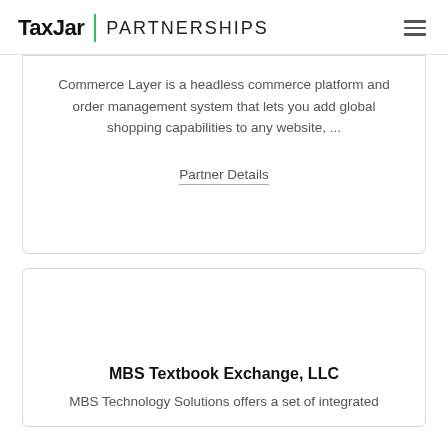TaxJar | PARTNERSHIPS
Commerce Layer is a headless commerce platform and order management system that lets you add global shopping capabilities to any website, ...
Partner Details
MBS Textbook Exchange, LLC
MBS Technology Solutions offers a set of integrated